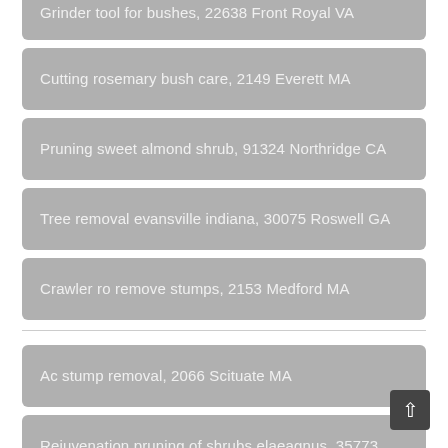Grinder tool for bushes, 22638 Front Royal VA
Cutting rosemary bush care, 2149 Everett MA
Pruning sweet almond shrub, 91324 Northridge CA
Tree removal evansville indiana, 30075 Roswell GA
Crawler ro remove stumps, 2153 Medford MA
Ac stump removal, 2066 Scituate MA
Rejuvenation pruning of shrubs elaeagnus, 35773 Toney AL